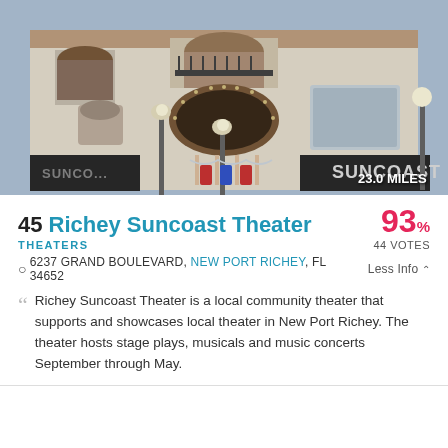[Figure (photo): Exterior photo of Richey Suncoast Theater building, a white Spanish-style building with arched entrance and Suncoast signage. Distance badge shows 23.0 MILES.]
45 Richey Suncoast Theater  93%  44 VOTES
THEATERS
6237 GRAND BOULEVARD, NEW PORT RICHEY, FL 34652   Less Info ∧
Richey Suncoast Theater is a local community theater that supports and showcases local theater in New Port Richey. The theater hosts stage plays, musicals and music concerts September through May.